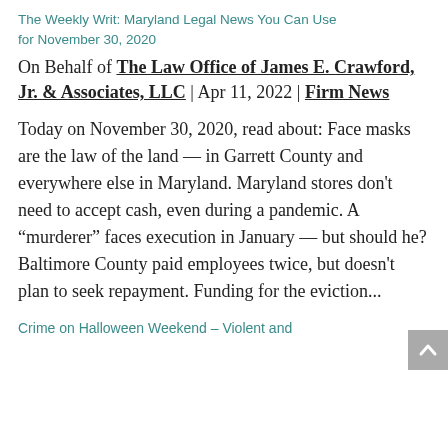The Weekly Writ: Maryland Legal News You Can Use for November 30, 2020
On Behalf of The Law Office of James E. Crawford, Jr. & Associates, LLC | Apr 11, 2022 | Firm News
Today on November 30, 2020, read about: Face masks are the law of the land — in Garrett County and everywhere else in Maryland. Maryland stores don't need to accept cash, even during a pandemic. A “murderer” faces execution in January — but should he? Baltimore County paid employees twice, but doesn't plan to seek repayment. Funding for the eviction...
Crime on Halloween Weekend – Violent and